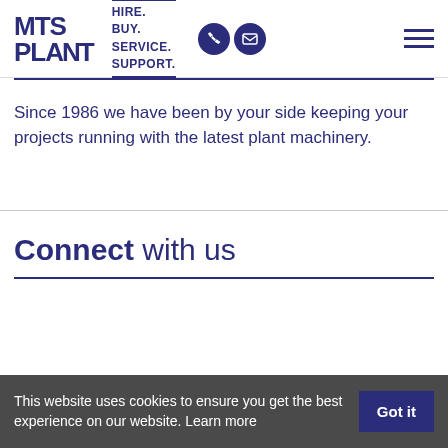MTS PLANT — HIRE. BUY. SERVICE. SUPPORT.
Since 1986 we have been by your side keeping your projects running with the latest plant machinery.
Connect with us
This website uses cookies to ensure you get the best experience on our website. Learn more